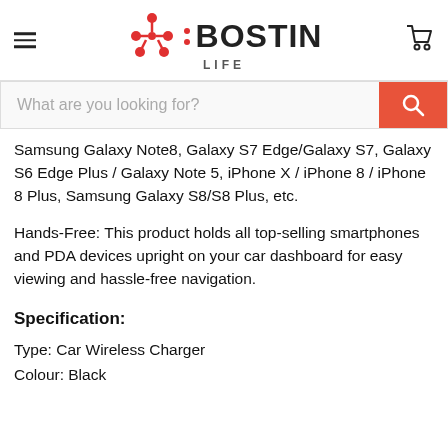[Figure (logo): Bostin Life logo with red graphic icon and BOSTIN LIFE text]
[Figure (other): Search bar with orange/red search button]
Samsung Galaxy Note8, Galaxy S7 Edge/Galaxy S7, Galaxy S6 Edge Plus / Galaxy Note 5, iPhone X / iPhone 8 / iPhone 8 Plus, Samsung Galaxy S8/S8 Plus, etc.
Hands-Free: This product holds all top-selling smartphones and PDA devices upright on your car dashboard for easy viewing and hassle-free navigation.
Specification:
Type: Car Wireless Charger
Colour: Black